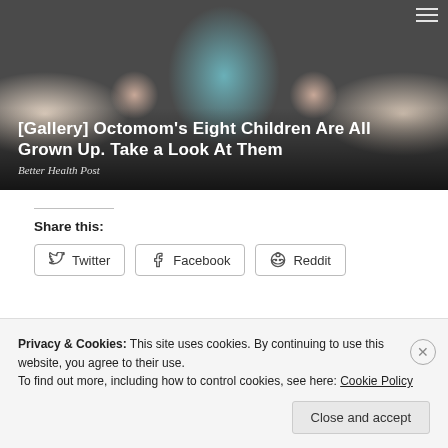[Figure (photo): Photo of a woman in a teal top sitting on a bed holding two babies, with additional babies/children visible. Dark overlay at bottom with article title.]
[Gallery] Octomom's Eight Children Are All Grown Up. Take a Look At Them
Better Health Post
Share this:
Twitter  Facebook  Reddit
Privacy & Cookies: This site uses cookies. By continuing to use this website, you agree to their use.
To find out more, including how to control cookies, see here: Cookie Policy
Close and accept